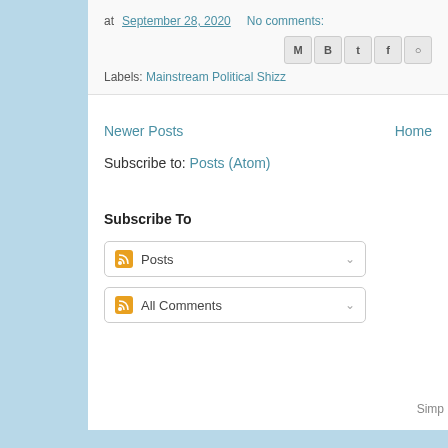at September 28, 2020  No comments:
Labels: Mainstream Political Shizz
Newer Posts
Home
Subscribe to: Posts (Atom)
Subscribe To
Posts
All Comments
Simp